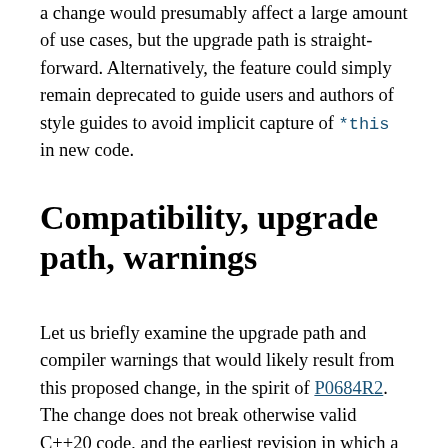a change would presumably affect a large amount of use cases, but the upgrade path is straight-forward. Alternatively, the feature could simply remain deprecated to guide users and authors of style guides to avoid implicit capture of *this in new code.
Compatibility, upgrade path, warnings
Let us briefly examine the upgrade path and compiler warnings that would likely result from this proposed change, in the spirit of P0684R2. The change does not break otherwise valid C++20 code, and the earliest revision in which a breakage from C++17 could appear is C++23. Therefore compilers for the current standard (C++17)